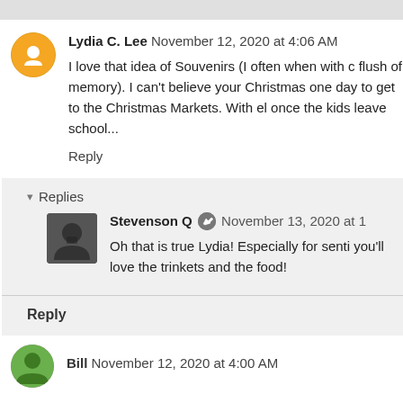Lydia C. Lee November 12, 2020 at 4:06 AM
I love that idea of Souvenirs (I often when with c flush of memory). I can't believe your Christmas one day to get to the Christmas Markets. With el once the kids leave school...
Reply
Replies
Stevenson Q November 13, 2020 at 1
Oh that is true Lydia! Especially for senti you'll love the trinkets and the food!
Reply
Bill November 12, 2020 at 4:00 AM